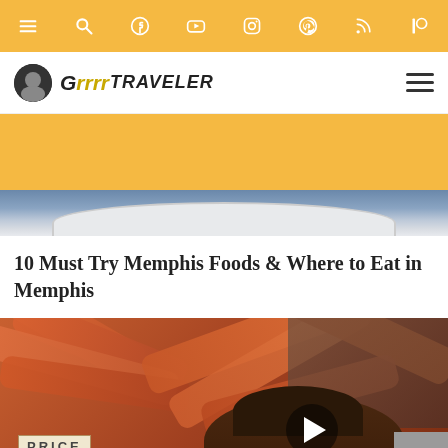Navigation bar with menu, search, Facebook, YouTube, Instagram, Pinterest, RSS, Patreon icons
[Figure (logo): Grrrltraveler logo with avatar icon and hamburger menu]
[Figure (photo): Partial food photo showing a plate with blue background, partially cropped]
10 Must Try Memphis Foods & Where to Eat in Memphis
[Figure (screenshot): Video thumbnail showing crab legs and a person with a PRICE sign, with play button overlay]